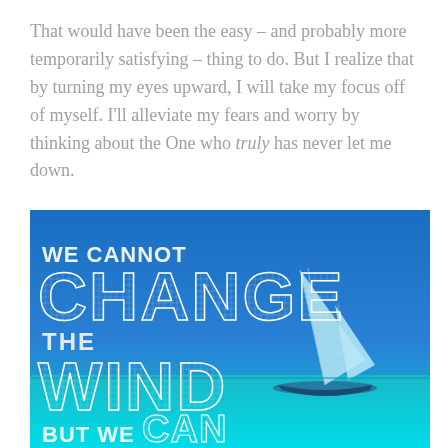That would have been the easy – and probably more temporarily satisfying – thing to do. But I realize that by turning my eyes upward, I will take my focus off of myself. I'll alleviate my fears and worry by thinking about the One who truly has never let me down.
[Figure (photo): Motivational quote image over a bright blue ocean background with a sailboat. Text reads: 'We cannot CHANGE the WIND but we CAN adjust the...' in white decorative lettering.]